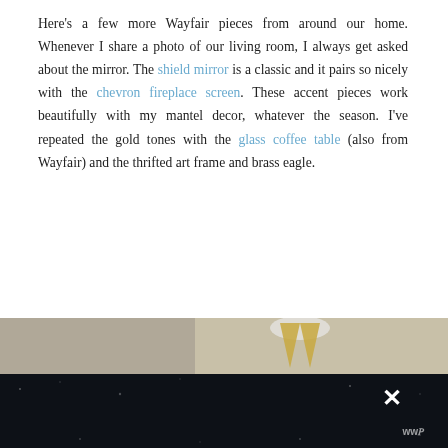Here's a few more Wayfair pieces from around our home. Whenever I share a photo of our living room, I always get asked about the mirror. The shield mirror is a classic and it pairs so nicely with the chevron fireplace screen. These accent pieces work beautifully with my mantel decor, whatever the season. I've repeated the gold tones with the glass coffee table (also from Wayfair) and the thrifted art frame and brass eagle.
Whatever you need for home, Wayfair has it! Do you have any furniture gaps in your home? What's next on your shopping list? Let me know if you pick up something from the Way Day sale!
[Figure (screenshot): UI overlay: heart/like button (blue circle with heart icon), count label '1', and share button (circle with share icon)]
[Figure (screenshot): What's Next widget showing thumbnail image and text 'WHAT'S NEXT → Spring Living Room Decor...']
[Figure (photo): Partial bottom image strip showing interior decor photo]
[Figure (logo): SHE CAN STEM banner in dark background with bold white text, X close button and watermark icon]